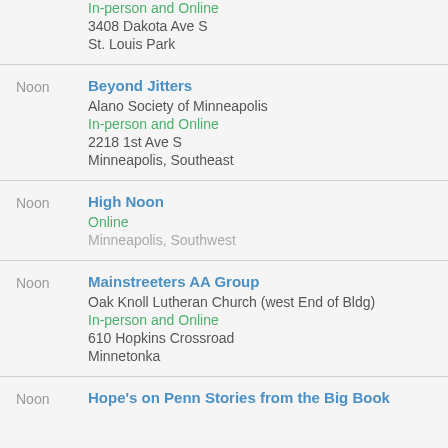In-person and Online
3408 Dakota Ave S
St. Louis Park
Noon | Beyond Jitters | Alano Society of Minneapolis | In-person and Online | 2218 1st Ave S | Minneapolis, Southeast
Noon | High Noon | Online | Minneapolis, Southwest
Noon | Mainstreeters AA Group | Oak Knoll Lutheran Church (west End of Bldg) | In-person and Online | 610 Hopkins Crossroad | Minnetonka
Noon | Hope's on Penn Stories from the Big Book